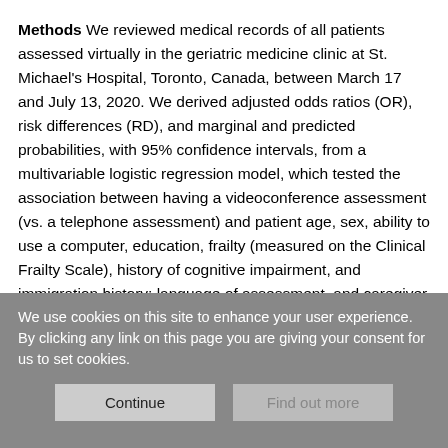Methods We reviewed medical records of all patients assessed virtually in the geriatric medicine clinic at St. Michael's Hospital, Toronto, Canada, between March 17 and July 13, 2020. We derived adjusted odds ratios (OR), risk differences (RD), and marginal and predicted probabilities, with 95% confidence intervals, from a multivariable logistic regression model, which tested the association between having a videoconference assessment (vs. a telephone assessment) and patient age, sex, ability to use a computer, education, frailty (measured on the Clinical Frailty Scale), history of cognitive impairment, and immigration history; language of assessment, and caregiver involvement in assessment.
We use cookies on this site to enhance your user experience. By clicking any link on this page you are giving your consent for us to set cookies.